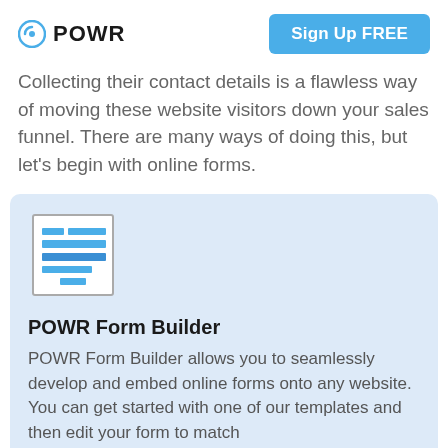POWR | Sign Up FREE
Collecting their contact details is a flawless way of moving these website visitors down your sales funnel. There are many ways of doing this, but let's begin with online forms.
[Figure (illustration): Form builder icon showing a document with blue form fields/rows inside a square border]
POWR Form Builder
POWR Form Builder allows you to seamlessly develop and embed online forms onto any website. You can get started with one of our templates and then edit your form to match